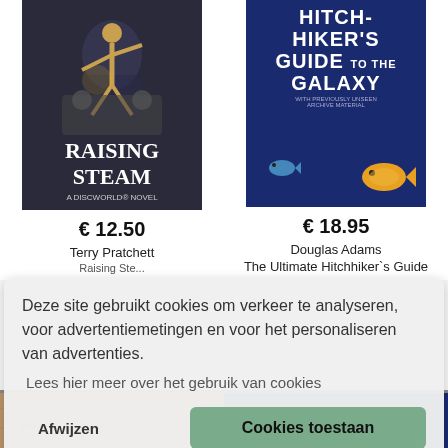[Figure (illustration): Book cover of 'Raising Steam' by Terry Pratchett - A Discworld Novel, dark background with a figure climbing]
[Figure (illustration): Book cover of 'The Hitchhiker's Guide to the Galaxy' by Douglas Adams - blue background with large yellow fish]
€ 12.50
Terry Pratchett
€ 18.95
Douglas Adams
The Ultimate Hitchhiker`s Guide
Deze site gebruikt cookies om verkeer te analyseren, voor advertentiemetingen en voor het personaliseren van advertenties.
Lees hier meer over het gebruik van cookies
Afwijzen
Cookies toestaan
[Figure (illustration): Partial view of a book cover at the bottom left (map/adventure style)]
[Figure (illustration): Partial view of a book cover at the bottom right with text DINOSAURS]